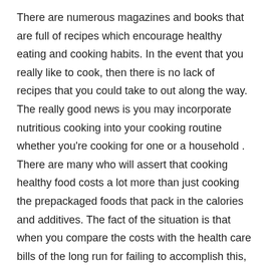There are numerous magazines and books that are full of recipes which encourage healthy eating and cooking habits. In the event that you really like to cook, then there is no lack of recipes that you could take to out along the way. The really good news is you may incorporate nutritious cooking into your cooking routine whether you're cooking for one or a household . There are many who will assert that cooking healthy food costs a lot more than just cooking the prepackaged foods that pack in the calories and additives. The fact of the situation is that when you compare the costs with the health care bills of the long run for failing to accomplish this, they seem quite slight when compared. Yes, good food costs more money. Oftentimes, that is a very simple fact of everyday life. But by learning portion control and eating the proper portions you just may realize that you are actually spending less as you adjust to the proper amounts of food which you should be consuming so as to keep a balanced and busy lifestyle.
With weight and nutrition being known as to blame in numerous